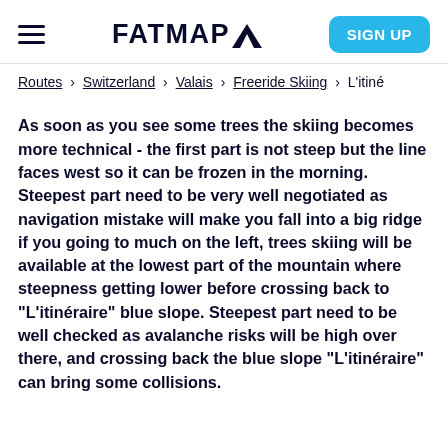FATMAP  SIGN UP
Routes > Switzerland > Valais > Freeride Skiing > L'itiné
As soon as you see some trees the skiing becomes more technical - the first part is not steep but the line faces west so it can be frozen in the morning. Steepest part need to be very well negotiated as navigation mistake will make you fall into a big ridge if you going to much on the left, trees skiing will be available at the lowest part of the mountain where steepness getting lower before crossing back to "L'itinéraire" blue slope. Steepest part need to be well checked as avalanche risks will be high over there, and crossing back the blue slope "L'itinéraire" can bring some collisions.